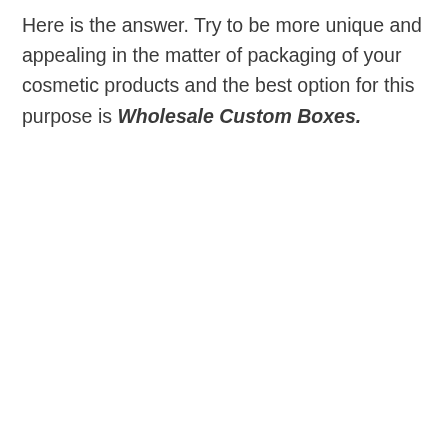Here is the answer. Try to be more unique and appealing in the matter of packaging of your cosmetic products and the best option for this purpose is Wholesale Custom Boxes.